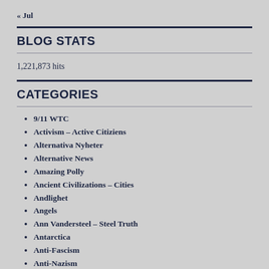« Jul
BLOG STATS
1,221,873 hits
CATEGORIES
9/11 WTC
Activism – Active Citiziens
Alternativa Nyheter
Alternative News
Amazing Polly
Ancient Civilizations – Cities
Andlighet
Angels
Ann Vandersteel – Steel Truth
Antarctica
Anti-Fascism
Anti-Nazism
Anti-Racism